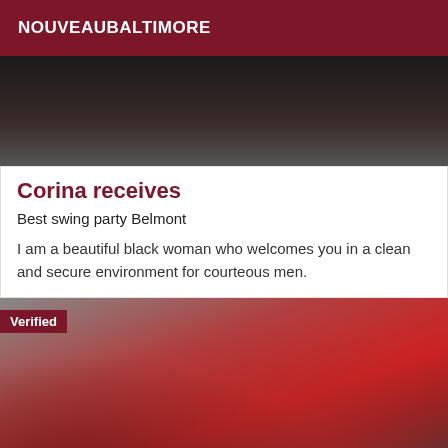NOUVEAUBALTIMORE
[Figure (photo): Dark photo cropped, showing partial image at the top of the listing card]
Corina receives
Best swing party Belmont
I am a beautiful black woman who welcomes you in a clean and secure environment for courteous men.
[Figure (photo): Photo of person wearing red high heels and fishnet stockings, with a 'Verified' badge overlay and watermark text]